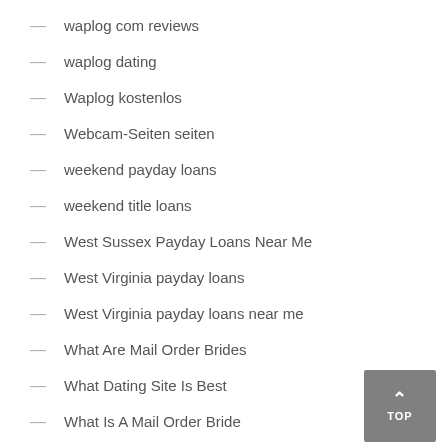waplog com reviews
waplog dating
Waplog kostenlos
Webcam-Seiten seiten
weekend payday loans
weekend title loans
West Sussex Payday Loans Near Me
West Virginia payday loans
West Virginia payday loans near me
What Are Mail Order Brides
What Dating Site Is Best
What Is A Mail Order Bride
what is an installment loans
what is payday loan
What Is The Best International Dating Site
What Is The Best Internet Dating Site